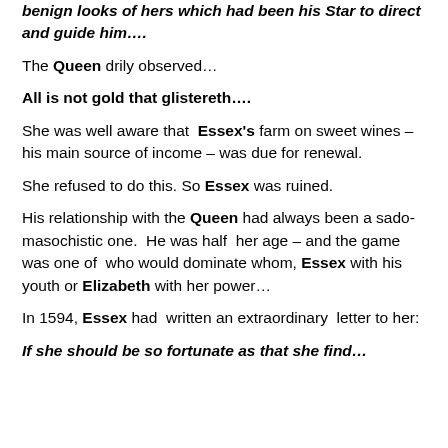benign looks of hers which had been his Star to direct and guide him….
The Queen drily observed…
All is not gold that glistereth….
She was well aware that Essex's farm on sweet wines – his main source of income – was due for renewal.
She refused to do this. So Essex was ruined.
His relationship with the Queen had always been a sado-masochistic one.  He was half  her age – and the game was one of  who would dominate whom, Essex with his youth or Elizabeth with her power…
In 1594, Essex had  written an extraordinary  letter to her:
If she should be so fortunate as that she find…